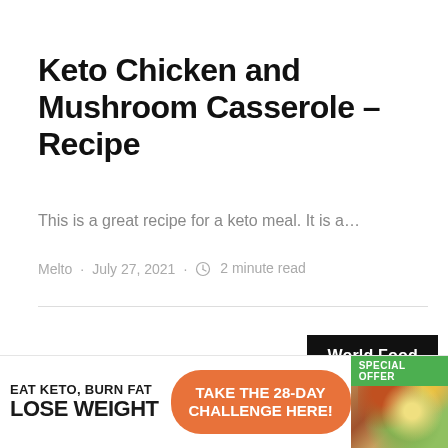Keto Chicken and Mushroom Casserole – Recipe
This is a great recipe for a keto meal. It is a…
Melto · July 27, 2021 · ⊙ 2 minute read
World Food
[Figure (infographic): Advertisement banner: EAT KETO, BURN FAT / LOSE WEIGHT with TAKE THE 28-DAY CHALLENGE HERE! button and SPECIAL OFFER badge with food image]